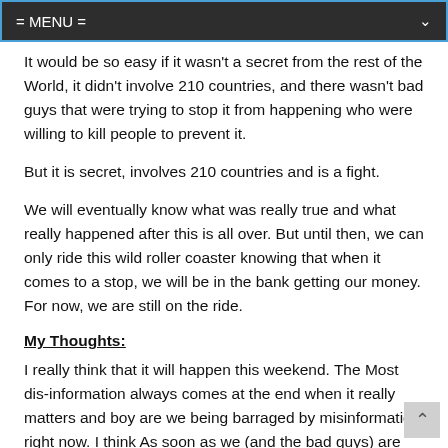= MENU =
It would be so easy if it wasn't a secret from the rest of the World, it didn't involve 210 countries, and there wasn't bad guys that were trying to stop it from happening who were willing to kill people to prevent it.
But it is secret, involves 210 countries and is a fight.
We will eventually know what was really true and what really happened after this is all over. But until then, we can only ride this wild roller coaster knowing that when it comes to a stop, we will be in the bank getting our money. For now, we are still on the ride.
My Thoughts:
I really think that it will happen this weekend. The Most dis-information always comes at the end when it really matters and boy are we being barraged by misinformation right now. I think As soon as we (and the bad guys) are burned out about the data